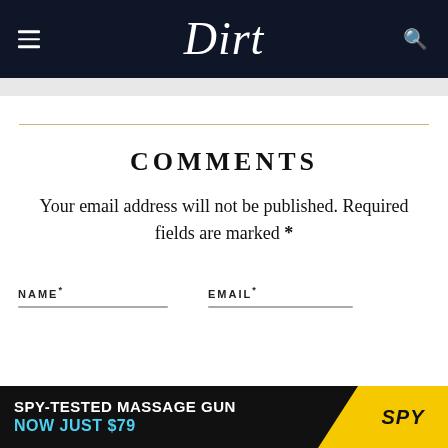Dirt
COMMENTS
Your email address will not be published. Required fields are marked *
NAME*
EMAIL*
[Figure (other): Advertisement banner: SPY-TESTED MASSAGE GUN NOW JUST $79 with SPY logo on yellow background]